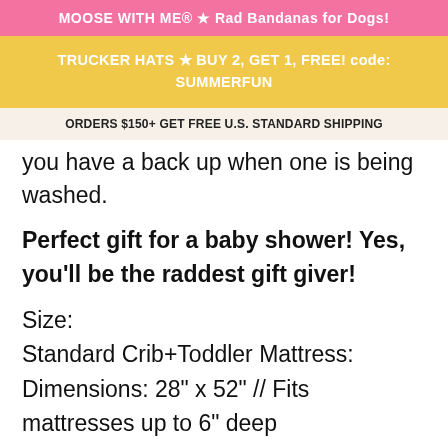MOOSE WITH ME® ★ Rad Bandanas for Dogs!
TRUCKER HATS ★ BUY 2, GET 1, FREE! code: SUMMERFUN
ORDERS $150+ GET FREE U.S. STANDARD SHIPPING
you have a back up when one is being washed.
Perfect gift for a baby shower! Yes, you'll be the raddest gift giver!
Size:
Standard Crib+Toddler Mattress:
Dimensions: 28" x 52" // Fits mattresses up to 6" deep